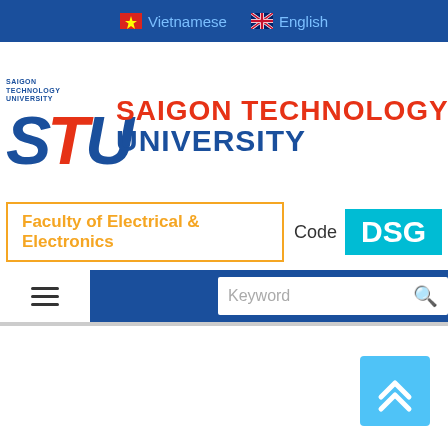Vietnamese | English
[Figure (logo): Saigon Technology University logo with STU letters and full name]
Faculty of Electrical & Electronics   Code DSG
[Figure (screenshot): Navigation bar with hamburger menu and keyword search box]
[Figure (other): Scroll-to-top button with double chevron up arrows on light blue background]